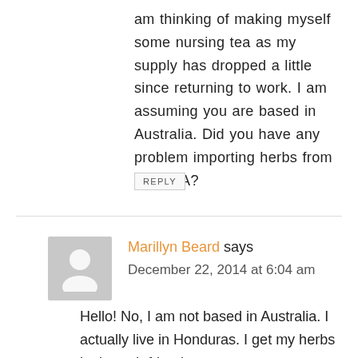am thinking of making myself some nursing tea as my supply has dropped a little since returning to work. I am assuming you are based in Australia. Did you have any problem importing herbs from the USA?
REPLY
Marillyn Beard says
December 22, 2014 at 6:04 am
Hello! No, I am not based in Australia. I actually live in Honduras. I get my herbs in through friends